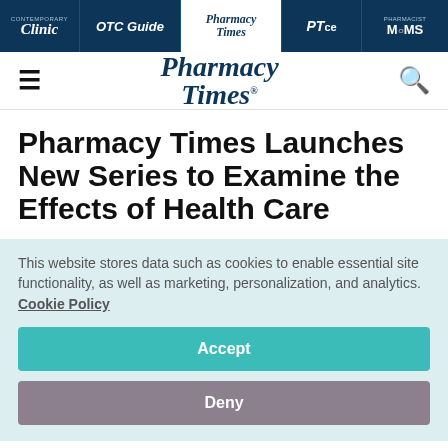Contemporary Clinic | OTC Guide | Pharmacy Times | PTce | Pharmacist Moms
[Figure (logo): Pharmacy Times logo with hamburger menu and search icon]
Pharmacy Times Launches New Series to Examine the Effects of Health Care
This website stores data such as cookies to enable essential site functionality, as well as marketing, personalization, and analytics. Cookie Policy
Accept
Deny